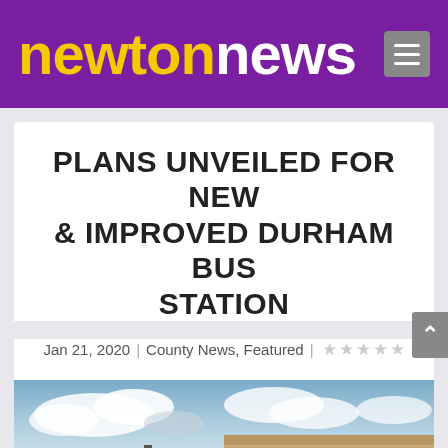newtonnews
PLANS UNVEILED FOR NEW & IMPROVED DURHAM BUS STATION
Jan 21, 2020 | County News, Featured |
[Figure (photo): Exterior photograph of buildings including a dark-roofed modern structure and a stone/brick building, taken from street level with cloudy sky above]